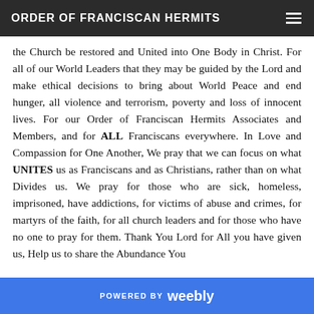ORDER OF FRANCISCAN HERMITS
the Church be restored and United into One Body in Christ. For all of our World Leaders that they may be guided by the Lord and make ethical decisions to bring about World Peace and end hunger, all violence and terrorism, poverty and loss of innocent lives. For our Order of Franciscan Hermits Associates and Members, and for ALL Franciscans everywhere. In Love and Compassion for One Another, We pray that we can focus on what UNITES us as Franciscans and as Christians, rather than on what Divides us. We pray for those who are sick, homeless, imprisoned, have addictions, for victims of abuse and crimes, for martyrs of the faith, for all church leaders and for those who have no one to pray for them. Thank You Lord for All you have given us, Help us to share the Abundance You
POWERED BY weebly